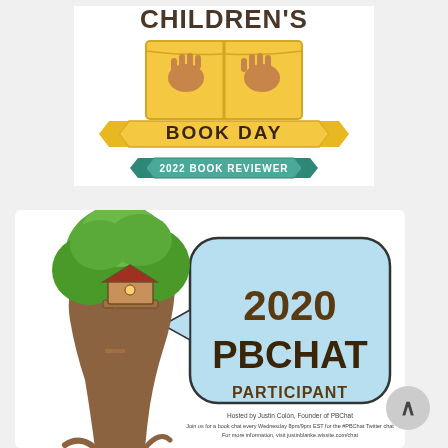[Figure (logo): Children's Book Day 2022 Book Reviewer badge — open book with handprints, green and gold ribbon design]
[Figure (illustration): 2020 PBChat Participant badge — treehouse illustration with light blue speech bubble, hosted by Justin Colón, Founder of PBChat]